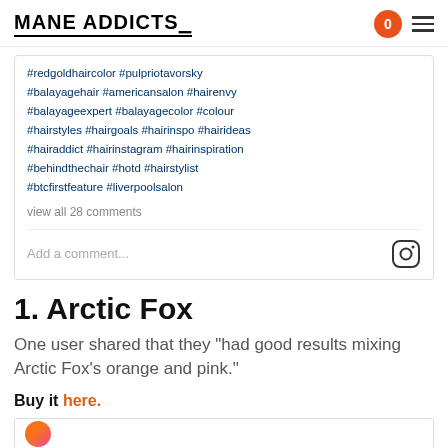MANE ADDICTS
#redgoldhaircolor #pulpriotavorsky #balayagehair #americansalon #hairenvy #balayageexpert #balayagecolor #colour #hairstyles #hairgoals #hairinspo #hairideas #hairaddict #hairinstagram #hairinspiration #behindthechair #hotd #hairstylist #btcfirstfeature #liverpoolsalon
view all 28 comments
Add a comment...
1. Arctic Fox
One user shared that they “had good results mixing Arctic Fox’s orange and pink.”
Buy it here.